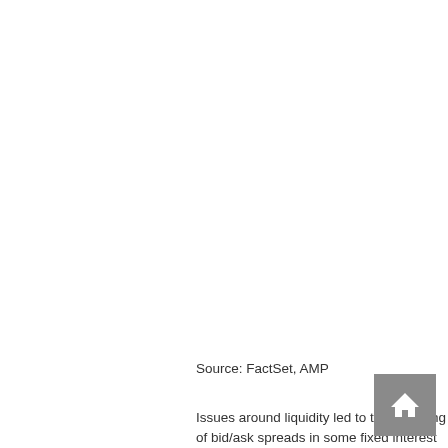Source: FactSet, AMP
Issues around liquidity led to the widening of bid/ask spreads in some fixed interest